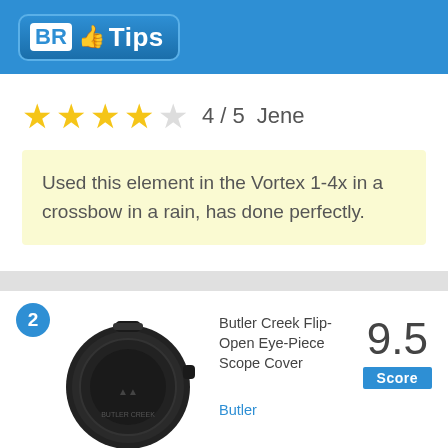BR Tips
4 / 5  Jene
Used this element in the Vortex 1-4x in a crossbow in a rain, has done perfectly.
[Figure (photo): Butler Creek Flip-Open Eye-Piece Scope Cover product image — a round black lens cover]
Butler Creek Flip-Open Eye-Piece Scope Cover  9.5 Score  Butler